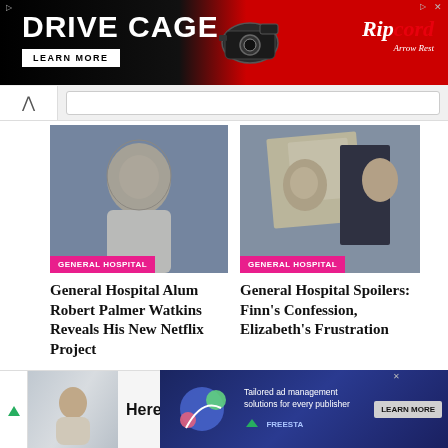[Figure (screenshot): Drive Cage advertisement banner — black and red background with white bold text 'DRIVE CAGE', 'LEARN MORE' button, camera/cage hardware image, Ripcord Arrow Rest brand logo]
[Figure (photo): Headshot photo of Robert Palmer Watkins (General Hospital alum) with tag 'GENERAL HOSPITAL']
General Hospital Alum Robert Palmer Watkins Reveals His New Netflix Project
[Figure (photo): Scene photo from General Hospital showing Finn and Elizabeth with tag 'GENERAL HOSPITAL']
General Hospital Spoilers: Finn's Confession, Elizabeth's Frustration
[Figure (screenshot): Bottom advertisement — 'Here Is What Dental Implants May' with person photo]
[Figure (screenshot): Freestar ad — 'Tailored ad management solutions for every publisher' with LEARN MORE button]